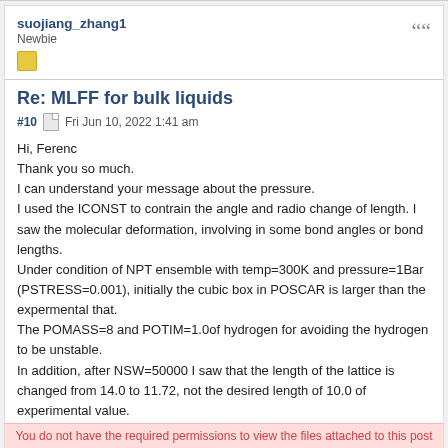suojiang_zhang1
Newbie
Re: MLFF for bulk liquids
#10  Fri Jun 10, 2022 1:41 am
Hi, Ferenc
Thank you so much.
I can understand your message about the pressure.
I used the ICONST to contrain the angle and radio change of length. I saw the molecular deformation, involving in some bond angles or bond lengths.
Under condition of NPT ensemble with temp=300K and pressure=1Bar (PSTRESS=0.001), initially the cubic box in POSCAR is larger than the expermental that.
The POMASS=8 and POTIM=1.0of hydrogen for avoiding the hydrogen to be unstable.
In addition, after NSW=50000 I saw that the length of the lattice is changed from 14.0 to 11.72, not the desired length of 10.0 of experimental value.
grep "ERR" ML_LOGFILE, the energy is 4.77e-3 and force is 7.28e-2, the ML_FF should is good.
You do not have the required permissions to view the files attached to this post